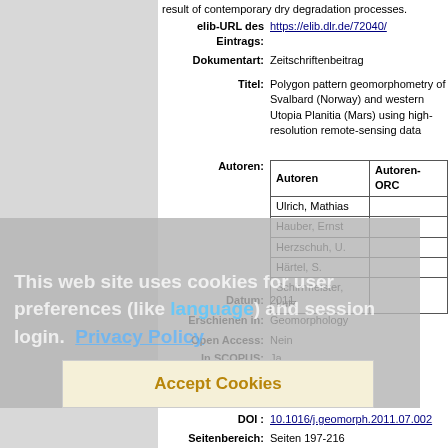result of contemporary dry degradation processes.
elib-URL des Eintrags: https://elib.dlr.de/72040/
Dokumentart: Zeitschriftenbeitrag
Titel: Polygon pattern geomorphometry of Svalbard (Norway) and western Utopia Planitia (Mars) using high-resolution remote-sensing data
| Autoren | Autoren-ORCID |
| --- | --- |
| Ulrich, Mathias |  |
| Hauber, Ernst |  |
| Herzschuh, U. |  |
| Härtel, S. |  |
| Schirrmeister, Lutz |  |
Datum: 2011
Erschienen in: Geomorphology
Open Access: Nein
In SCOPUS: Ja
In ISI Web of Science: Ja
Band: 134
DOI: 10.1016/j.geomorph.2011.07.002
Seitenbereich: Seiten 197-216
Verlag: Elsevier
Stichwörter: Mars, Svalbard, geomorphology, pe